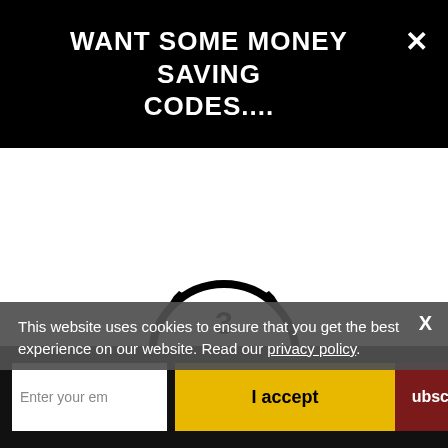WANT SOME MONEY SAVING CODES....
[Figure (illustration): Pirate skull and crossbones (Jolly Roger style) with crossed cutlass swords and number 3 on forehead, black and white illustration]
This website uses cookies to ensure that you get the best experience on our website. Read our privacy policy.
Enter your em[ail]
I accept
ubscribe